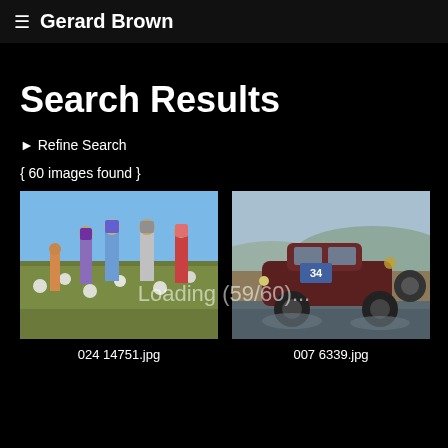≡  Gerard Brown
Search Results
▶ Refine Search
{ 60 images found }
[Figure (photo): Women in traditional dress picking cotton in a field under a blue sky]
024 14751.jpg
[Figure (photo): Vintage rally car numbered 34 crossing a muddy river with hills in background]
007 6339.jpg
Loading (59/60)...